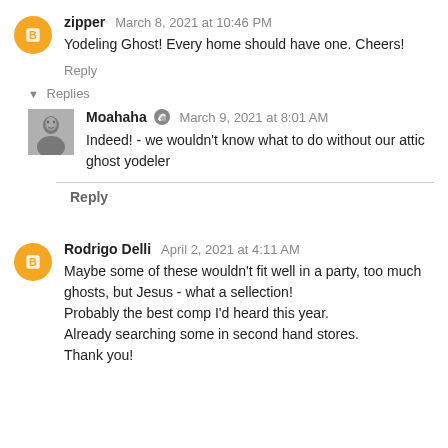zipper  March 8, 2021 at 10:46 PM
Yodeling Ghost! Every home should have one. Cheers!
Reply
Replies
Moahaha  March 9, 2021 at 8:01 AM
Indeed! - we wouldn't know what to do without our attic ghost yodeler
Reply
Rodrigo Delli  April 2, 2021 at 4:11 AM
Maybe some of these wouldn't fit well in a party, too much ghosts, but Jesus - what a sellection!
Probably the best comp I'd heard this year.
Already searching some in second hand stores.
Thank you!